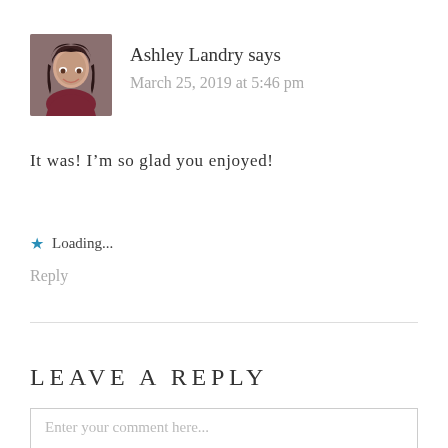[Figure (photo): Avatar photo of Ashley Landry, a woman with dark brown hair smiling]
Ashley Landry says
March 25, 2019 at 5:46 pm
It was! I’m so glad you enjoyed!
★ Loading...
Reply
LEAVE A REPLY
Enter your comment here...